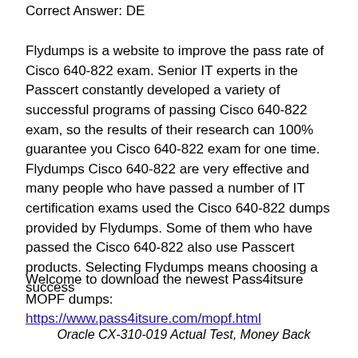Correct Answer: DE
Flydumps is a website to improve the pass rate of Cisco 640-822 exam. Senior IT experts in the Passcert constantly developed a variety of successful programs of passing Cisco 640-822 exam, so the results of their research can 100% guarantee you Cisco 640-822 exam for one time. Flydumps Cisco 640-822 are very effective and many people who have passed a number of IT certification exams used the Cisco 640-822 dumps provided by Flydumps. Some of them who have passed the Cisco 640-822 also use Passcert products. Selecting Flydumps means choosing a success
Welcome to download the newest Pass4itsure MOPF dumps: https://www.pass4itsure.com/mopf.html
Oracle CX-310-019 Actual Test, Money Back